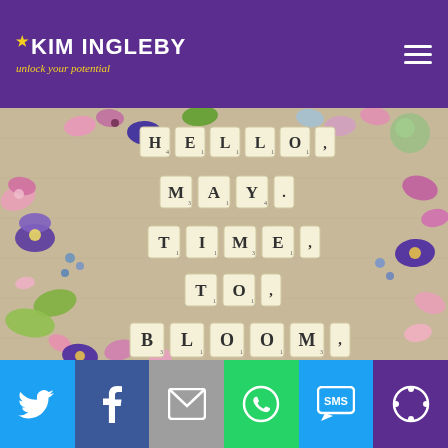KIM INGLEBY — unlock your potential
[Figure (photo): Photograph showing Scrabble tiles arranged to spell 'HELLO, MAY TIME TO BLOOM' surrounded by colorful spring flowers including pansies, pink blossoms, and green leaves on a light wooden background.]
[Figure (infographic): Social sharing bar with icons for Twitter (blue), Facebook (dark blue), Email (grey), WhatsApp (green), SMS (blue), and More (purple).]